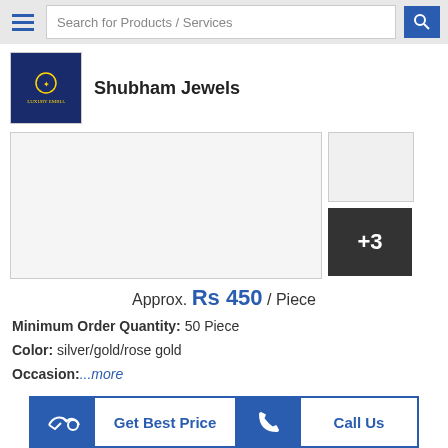Search for Products / Services
Shubham Jewels
[Figure (photo): Product images with +3 more thumbnail overlay]
Approx. Rs 450 / Piece
Minimum Order Quantity: 50 Piece
Color: silver/gold/rose gold
Occasion: ...more
[Figure (screenshot): Get Best Price and Call Us buttons]
Dainty Name Necklace with Birth Flower
[Figure (photo): Product image strip at bottom]